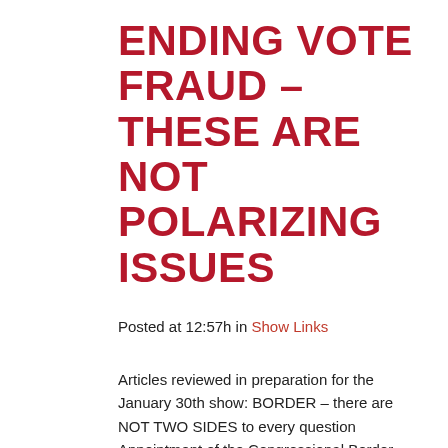ENDING VOTE FRAUD – THESE ARE NOT POLARIZING ISSUES
Posted at 12:57h in Show Links
Articles reviewed in preparation for the January 30th show: BORDER – there are NOT TWO SIDES to every question  Appointment of the Congressional Border Security Committee Conferees  Report: At